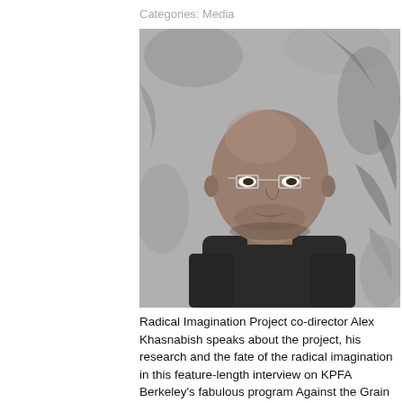Categories: Media
[Figure (photo): Black and white photo of a bald man with glasses wearing a dark shirt, standing in front of an intricate drawn artwork background. This is Alex Khasnabish, co-director of the Radical Imagination Project.]
Radical Imagination Project co-director Alex Khasnabish speaks about the project, his research and the fate of the radical imagination in this feature-length interview on KPFA Berkeley's fabulous program Against the Grain with host C.S. Soong.